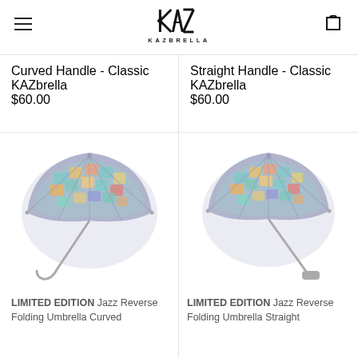KAZBRELLA — navigation header with hamburger menu, logo, and cart icon
Curved Handle - Classic
KAZbrella
$60.00
Straight Handle - Classic
KAZbrella
$60.00
[Figure (photo): Open umbrella with lavender exterior and colorful mosaic/jazz pattern interior, curved handle, viewed from side angle]
LIMITED EDITION Jazz Reverse Folding Umbrella Curved
[Figure (photo): Open umbrella with lavender exterior and colorful mosaic/jazz pattern interior, straight handle, viewed from side angle]
LIMITED EDITION Jazz Reverse Folding Umbrella Straight